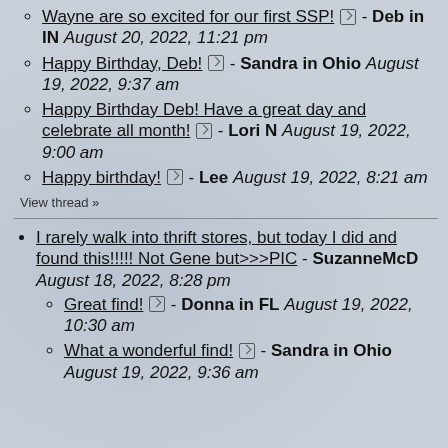Wayne are so excited for our first SSP! [icon] - Deb in IN August 20, 2022, 11:21 pm
Happy Birthday, Deb! [icon] - Sandra in Ohio August 19, 2022, 9:37 am
Happy Birthday Deb! Have a great day and celebrate all month! [icon] - Lori N August 19, 2022, 9:00 am
Happy birthday! [icon] - Lee August 19, 2022, 8:21 am
View thread »
I rarely walk into thrift stores, but today I did and found this!!!!! Not Gene but>>>PIC - SuzanneMcD August 18, 2022, 8:28 pm
Great find! [icon] - Donna in FL August 19, 2022, 10:30 am
What a wonderful find! [icon] - Sandra in Ohio August 19, 2022, 9:36 am